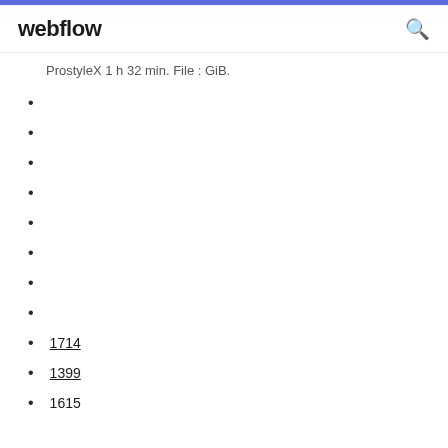webflow
ProstyleX 1 h 32 min. File : GiB.
1714
1399
1615